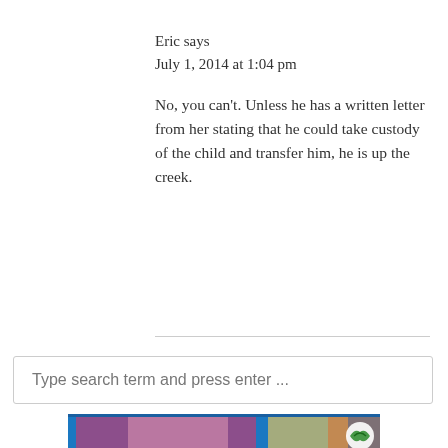Eric says
July 1, 2014 at 1:04 pm
No, you can’t. Unless he has a written letter from her stating that he could take custody of the child and transfer him, he is up the creek.
Type search term and press enter ...
[Figure (photo): Banner image with colorful background and a logo in the bottom right corner]